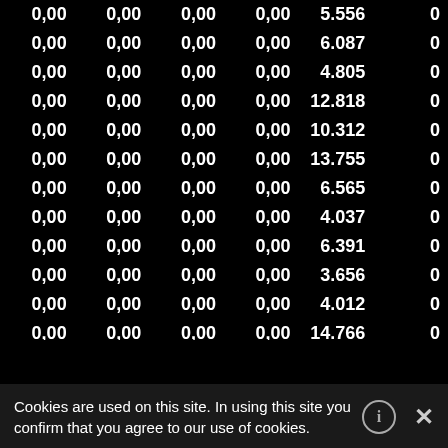| 0,00 | 0,00 | 0,00 | 0,00 | 5.556 | 0 |
| 0,00 | 0,00 | 0,00 | 0,00 | 6.087 | 0 |
| 0,00 | 0,00 | 0,00 | 0,00 | 4.805 | 0 |
| 0,00 | 0,00 | 0,00 | 0,00 | 12.818 | 0 |
| 0,00 | 0,00 | 0,00 | 0,00 | 10.312 | 0 |
| 0,00 | 0,00 | 0,00 | 0,00 | 13.755 | 0 |
| 0,00 | 0,00 | 0,00 | 0,00 | 6.565 | 0 |
| 0,00 | 0,00 | 0,00 | 0,00 | 4.037 | 0 |
| 0,00 | 0,00 | 0,00 | 0,00 | 6.391 | 0 |
| 0,00 | 0,00 | 0,00 | 0,00 | 3.656 | 0 |
| 0,00 | 0,00 | 0,00 | 0,00 | 4.012 | 0 |
| 0,00 | 0,00 | 0,00 | 0,00 | 14.766 | 0 |
| 0,00 | 0,00 | 0,00 | 0,00 | 7.793 | 0 |
| 0,00 | 0,00 | 0,00 | 0,00 | 7.498 | 0 |
| 0,00 | 0,00 | 0,00 | 0,00 | 5.365 | 0 |
| 0,00 | 0,00 | 0,00 | 0,00 | 7.022 | 0 |
| 0,00 | 0,00 | 0,00 | 0,00 | 4.358 | 0 |
Cookies are used on this site. In using this site you confirm that you agree to our use of cookies.